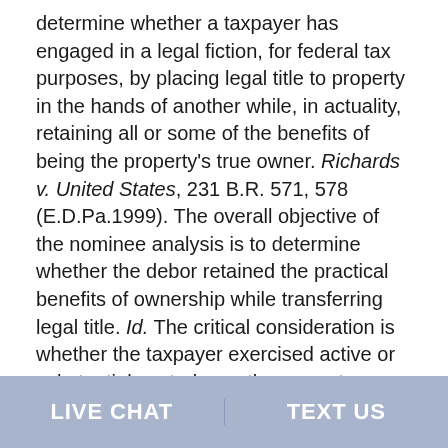determine whether a taxpayer has engaged in a legal fiction, for federal tax purposes, by placing legal title to property in the hands of another while, in actuality, retaining all or some of the benefits of being the property's true owner. Richards v. United States, 231 B.R. 571, 578 (E.D.Pa.1999). The overall objective of the nominee analysis is to determine whether the debor retained the practical benefits of ownership while transferring legal title. Id. The critical consideration is whether the taxpayer exercised active or substantial control over the property. Factors examined by the court include: (1) whether inadequate or no consideration was paid by the nominee; (2) whether the property was placed in the nominee's name in anticipation of a liability while the transferor remains in control of the property; (3) where there is a close relationship
LIVE CHAT | TEXT US